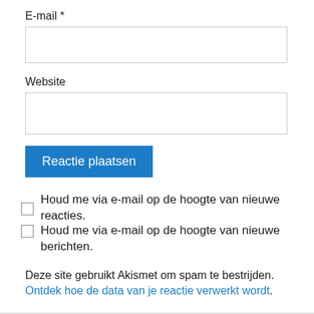E-mail *
[Figure (other): Empty text input field for E-mail]
Website
[Figure (other): Empty text input field for Website]
Reactie plaatsen
Houd me via e-mail op de hoogte van nieuwe reacties.
Houd me via e-mail op de hoogte van nieuwe berichten.
Deze site gebruikt Akismet om spam te bestrijden. Ontdek hoe de data van je reactie verwerkt wordt.